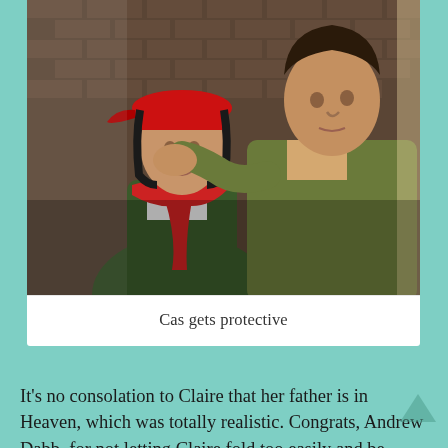[Figure (photo): A scene from Supernatural TV show: a young woman wearing a red cap and green jacket is being held by the neck/throat by a man in a green coat, against a brick wall background. The scene depicts a confrontational or protective moment.]
Cas gets protective
It's no consolation to Claire that her father is in Heaven, which was totally realistic. Congrats, Andrew Dabb, for not letting Claire fold too easily and be grateful for Castiel's return. I imagine she would have been more than a little undone by the fact that he looks